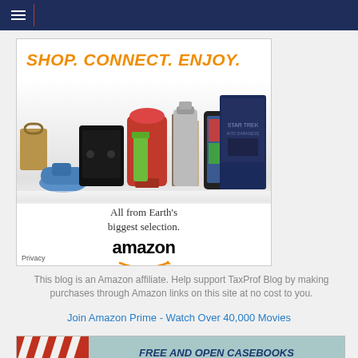Navigation hamburger menu
[Figure (illustration): Amazon advertisement banner showing 'SHOP. CONNECT. ENJOY.' text in orange with product images (bag, shoes, PS4, mixer, books, tablet, movie) and 'All from Earth's biggest selection.' text with Amazon logo and arrow. Privacy label bottom left.]
This blog is an Amazon affiliate. Help support TaxProf Blog by making purchases through Amazon links on this site at no cost to you.
Join Amazon Prime - Watch Over 40,000 Movies
[Figure (illustration): Banner for 'FREE AND OPEN CASEBOOKS AND SUPPLEMENTS' with a storefront awning graphic on the left side on a teal/cyan background.]